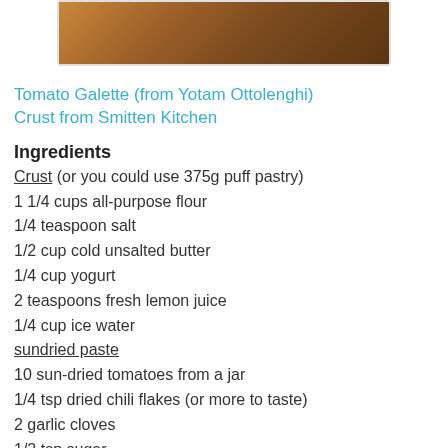[Figure (photo): Closeup of a baked tomato galette with golden crust on a plate]
Tomato Galette (from Yotam Ottolenghi)
Crust from Smitten Kitchen
Ingredients
Crust (or you could use 375g puff pastry)
1 1/4 cups all-purpose flour
1/4 teaspoon salt
1/2 cup cold unsalted butter
1/4 cup yogurt
2 teaspoons fresh lemon juice
1/4 cup ice water
sundried paste
10 sun-dried tomatoes from a jar
1/4 tsp dried chili flakes (or more to taste)
2 garlic cloves
1/2 tsp sugar
1 tsp salt
rest
125g goat's cheese, crumbled